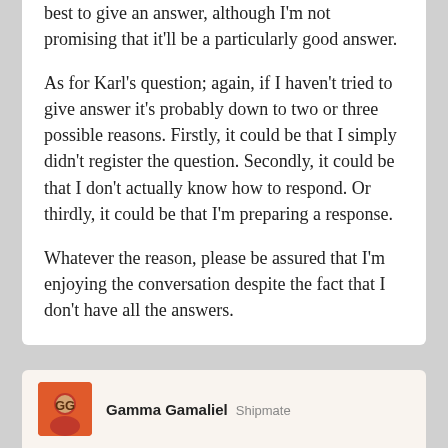best to give an answer, although I'm not promising that it'll be a particularly good answer.
As for Karl's question; again, if I haven't tried to give answer it's probably down to two or three possible reasons. Firstly, it could be that I simply didn't register the question. Secondly, it could be that I don't actually know how to respond. Or thirdly, it could be that I'm preparing a response.
Whatever the reason, please be assured that I'm enjoying the conversation despite the fact that I don't have all the answers.
Gamma Gamaliel Shipmate